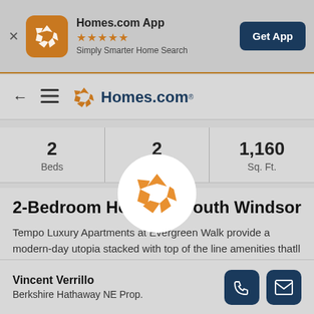[Figure (screenshot): Homes.com app banner with orange icon, star rating, tagline, and Get App button]
[Figure (logo): Homes.com navigation bar with back arrow, menu icon, and Homes.com logo]
| Beds | Baths | Sq. Ft. |
| --- | --- | --- |
| 2 | 2 | 1,160 |
2-Bedroom House In South Windsor
Tempo Luxury Apartments at Evergreen Walk provide a modern-day utopia stacked with top of the line amenities thatll make your everyday life feel like an endless vacation. From a state of the art clubhouse with an arcade, cinema, and gym, to a heated in-ground pool with
Vincent Verrillo
Berkshire Hathaway NE Prop.